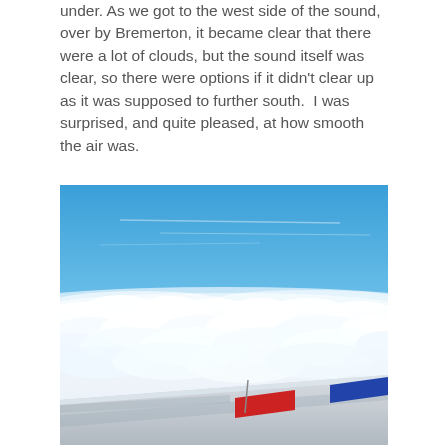under. As we got to the west side of the sound, over by Bremerton, it became clear that there were a lot of clouds, but the sound itself was clear, so there were options if it didn't clear up as it was supposed to further south.  I was surprised, and quite pleased, at how smooth the air was.
[Figure (photo): Aerial view from an airplane window showing a white airplane wing with red and blue markings, flying above a thick layer of white clouds under a clear blue sky.]